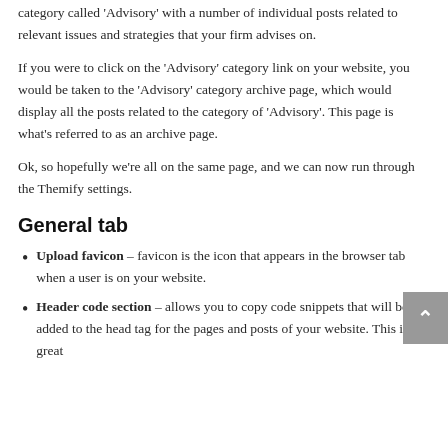category called 'Advisory' with a number of individual posts related to relevant issues and strategies that your firm advises on.
If you were to click on the 'Advisory' category link on your website, you would be taken to the 'Advisory' category archive page, which would display all the posts related to the category of 'Advisory'. This page is what's referred to as an archive page.
Ok, so hopefully we're all on the same page, and we can now run through the Themify settings.
General tab
Upload favicon – favicon is the icon that appears in the browser tab when a user is on your website.
Header code section – allows you to copy code snippets that will be added to the head tag for the pages and posts of your website. This is great